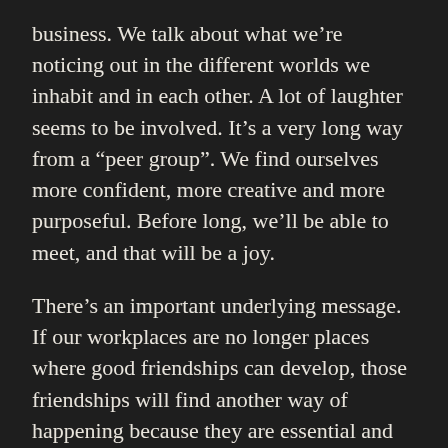business. We talk about what we're noticing out in the different worlds we inhabit and in each other. A lot of laughter seems to be involved. It's a very long way from a “peer group”. We find ourselves more confident, more creative and more purposeful. Before long, we'll be able to meet, and that will be a joy.
There’s an important underlying message. If our workplaces are no longer places where good friendships can develop, those friendships will find another way of happening because they are essential and need them. The organisation may remain the financial locus of control, but